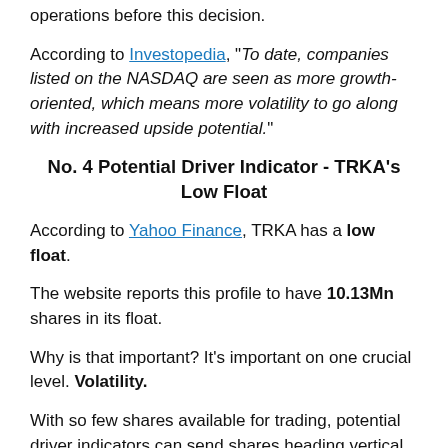operations before this decision.
According to Investopedia, "To date, companies listed on the NASDAQ are seen as more growth-oriented, which means more volatility to go along with increased upside potential."
No. 4 Potential Driver Indicator - TRKA's Low Float
According to Yahoo Finance, TRKA has a low float.
The website reports this profile to have 10.13Mn shares in its float.
Why is that important? It's important on one crucial level. Volatility.
With so few shares available for trading, potential driver indicators can send shares heading vertical in the short-term.